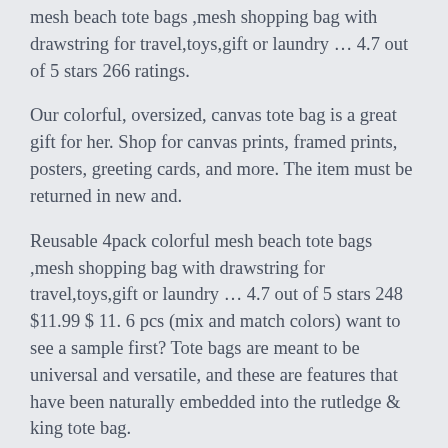mesh beach tote bags ,mesh shopping bag with drawstring for travel,toys,gift or laundry ... 4.7 out of 5 stars 266 ratings.
Our colorful, oversized, canvas tote bag is a great gift for her. Shop for canvas prints, framed prints, posters, greeting cards, and more. The item must be returned in new and.
Reusable 4pack colorful mesh beach tote bags ,mesh shopping bag with drawstring for travel,toys,gift or laundry ... 4.7 out of 5 stars 248 $11.99 $ 11. 6 pcs (mix and match colors) want to see a sample first? Tote bags are meant to be universal and versatile, and these are features that have been naturally embedded into the rutledge & king tote bag.